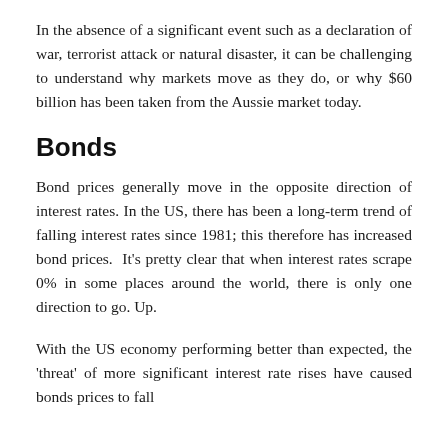In the absence of a significant event such as a declaration of war, terrorist attack or natural disaster, it can be challenging to understand why markets move as they do, or why $60 billion has been taken from the Aussie market today.
Bonds
Bond prices generally move in the opposite direction of interest rates. In the US, there has been a long-term trend of falling interest rates since 1981; this therefore has increased bond prices.  It's pretty clear that when interest rates scrape 0% in some places around the world, there is only one direction to go. Up.
With the US economy performing better than expected, the 'threat' of more significant interest rate rises have caused bonds prices to fall